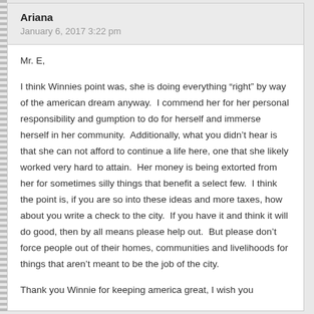Ariana
January 6, 2017 3:22 pm
Mr. E,

I think Winnies point was, she is doing everything “right” by way of the american dream anyway.  I commend her for her personal responsibility and gumption to do for herself and immerse herself in her community.  Additionally, what you didn’t hear is that she can not afford to continue a life here, one that she likely worked very hard to attain.  Her money is being extorted from her for sometimes silly things that benefit a select few.  I think the point is, if you are so into these ideas and more taxes, how about you write a check to the city.  If you have it and think it will do good, then by all means please help out.  But please don’t force people out of their homes, communities and livelihoods for things that aren’t meant to be the job of the city.

Thank you Winnie for keeping america great, I wish you